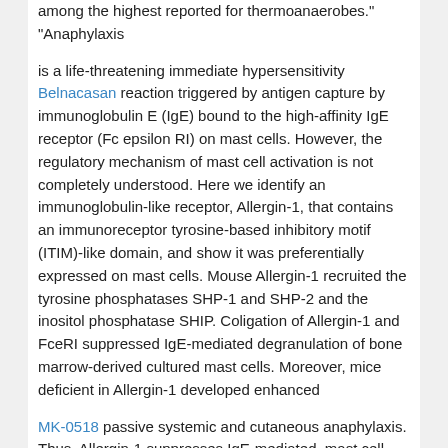among the highest reported for thermoanaerobes."
"Anaphylaxis
is a life-threatening immediate hypersensitivity Belnacasan reaction triggered by antigen capture by immunoglobulin E (IgE) bound to the high-affinity IgE receptor (Fc epsilon RI) on mast cells. However, the regulatory mechanism of mast cell activation is not completely understood. Here we identify an immunoglobulin-like receptor, Allergin-1, that contains an immunoreceptor tyrosine-based inhibitory motif (ITIM)-like domain, and show it was preferentially expressed on mast cells. Mouse Allergin-1 recruited the tyrosine phosphatases SHP-1 and SHP-2 and the inositol phosphatase SHIP. Coligation of Allergin-1 and FceRI suppressed IgE-mediated degranulation of bone marrow-derived cultured mast cells. Moreover, mice deficient in Allergin-1 developed enhanced
MK-0518 passive systemic and cutaneous anaphylaxis. Thus, Allergin-1 suppresses IgE-mediated, mast cell-